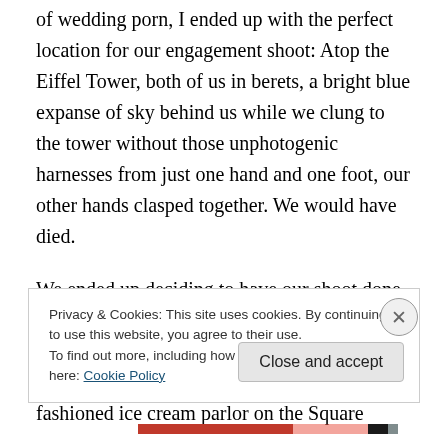of wedding porn, I ended up with the perfect location for our engagement shoot: Atop the Eiffel Tower, both of us in berets, a bright blue expanse of sky behind us while we clung to the tower without those unphotogenic harnesses from just one hand and one foot, our other hands clasped together. We would have died.
We ended up deciding to have our shoot done only in places we frequent. Recycled Books is a favorite of ours, lucky for us it looks like a dusty old antique bookstore… There's an old-fashioned ice cream parlor on the Square
Privacy & Cookies: This site uses cookies. By continuing to use this website, you agree to their use.
To find out more, including how to control cookies, see here: Cookie Policy